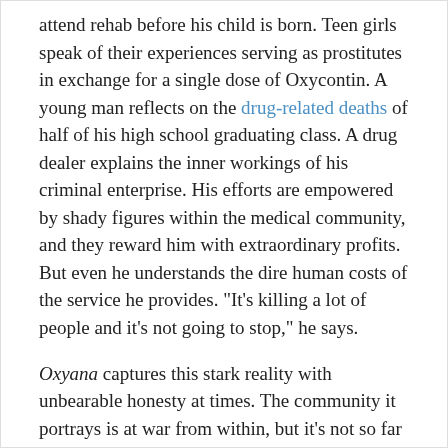attend rehab before his child is born. Teen girls speak of their experiences serving as prostitutes in exchange for a single dose of Oxycontin. A young man reflects on the drug-related deaths of half of his high school graduating class. A drug dealer explains the inner workings of his criminal enterprise. His efforts are empowered by shady figures within the medical community, and they reward him with extraordinary profits. But even he understands the dire human costs of the service he provides. "It's killing a lot of people and it's not going to stop," he says.
Oxyana captures this stark reality with unbearable honesty at times. The community it portrays is at war from within, but it's not so far removed from countless other cities and towns across the United States.
Directed by: Sean Dunne